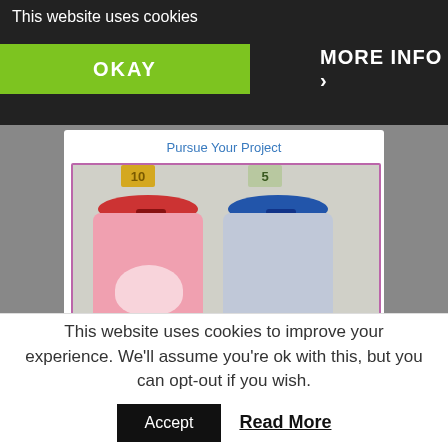This website uses cookies
OKAY
MORE INFO
Pursue Your Project
[Figure (photo): Two DIY money boxes made from recycled cans — one pink with red lid and a 10 note, one light blue with blue lid and a 5 note. Both decorated with bear motifs. Coins scattered in front. Bottom banner reads 'recycling idea: DIY Money Boxes'.]
9. DIY Money Boxes
This website uses cookies to improve your experience. We'll assume you're ok with this, but you can opt-out if you wish.
Accept
Read More